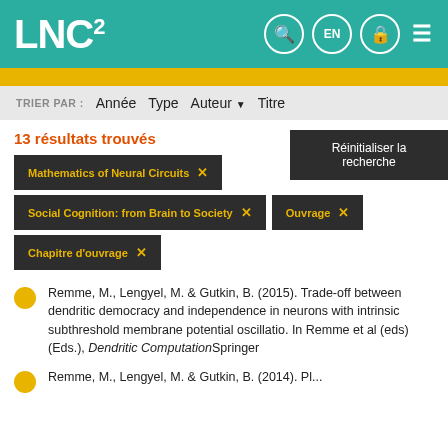LNC²
TRIER PAR: Année  Type  Auteur ▼  Titre
13 résultats trouvés
Réinitialiser la recherche
Mathematics of Neural Circuits  ×
Social Cognition: from Brain to Society  ×
Ouvrage  ×
Chapitre d'ouvrage  ×
Remme, M., Lengyel, M. & Gutkin, B. (2015). Trade-off between dendritic democracy and independence in neurons with intrinsic subthreshold membrane potential oscillatio. In Remme et al (eds) (Eds.), Dendritic ComputationSpringer
Remme, M., Lengyel, M. & Gutkin, B. (2014). Pl...